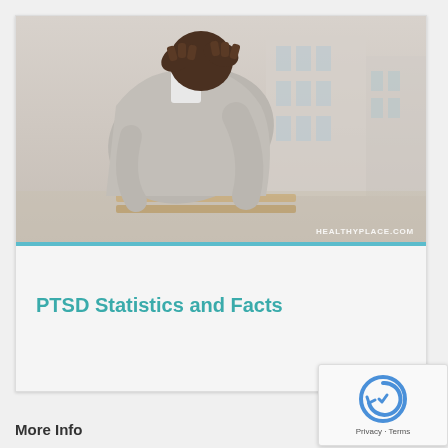[Figure (photo): A man in a light gray suit sitting hunched over with his head bowed and hands clasped on top of his head, appearing distressed. Background shows an out-of-focus building exterior. Watermark reads HEALTHYPLACE.COM in the lower right corner.]
PTSD Statistics and Facts
More Info